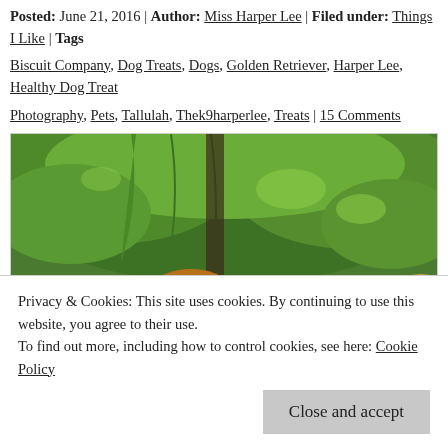Posted: June 21, 2016 | Author: Miss Harper Lee | Filed under: Things I Like | Tags: Biscuit Company, Dog Treats, Dogs, Golden Retriever, Harper Lee, Healthy Dog Treats, Photography, Pets, Tallulah, Thek9harperlee, Treats | 15 Comments
[Figure (photo): Two golden retrievers outdoors with lush green willow tree foliage in the background. One dog is in the foreground center, another partially visible on the right edge.]
Privacy & Cookies: This site uses cookies. By continuing to use this website, you agree to their use. To find out more, including how to control cookies, see here: Cookie Policy
Close and accept